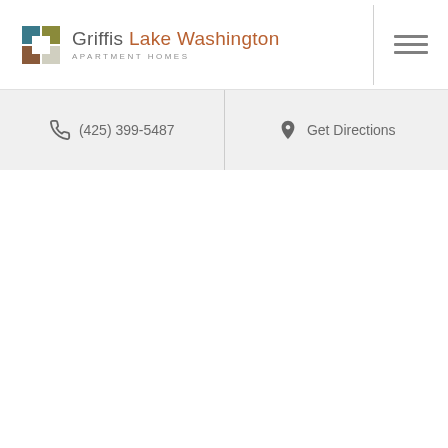Griffis Lake Washington — APARTMENT HOMES
(425) 399-5487
Get Directions